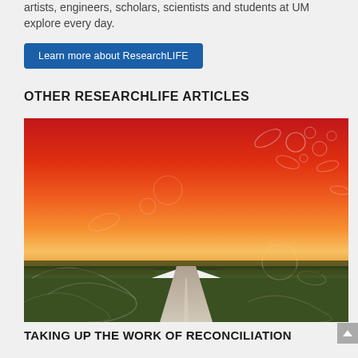artists, engineers, scholars, scientists and students at UM explore every day.
Learn more about ResearchLIFE
OTHER RESEARCHLIFE ARTICLES
[Figure (photo): A rural road stretching into the distance under a dramatic red-orange sunset sky, with green fields on either side. White scientific/biological illustration overlays are visible on the image.]
TAKING UP THE WORK OF RECONCILIATION